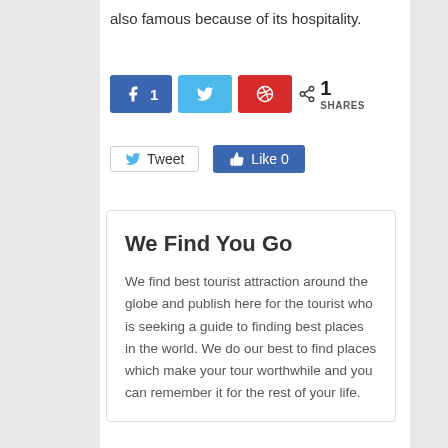also famous because of its hospitality.
[Figure (infographic): Social sharing buttons: Facebook with count 1, Twitter, Pinterest, and share icon with 1 SHARES]
[Figure (infographic): Tweet button and Like 0 button row]
We Find You Go
We find best tourist attraction around the globe and publish here for the tourist who is seeking a guide to finding best places in the world. We do our best to find places which make your tour worthwhile and you can remember it for the rest of your life.